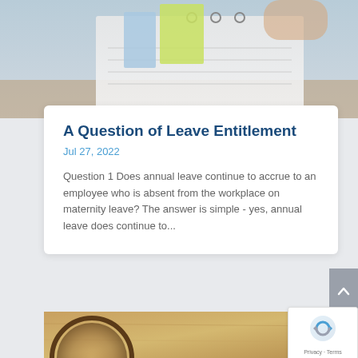[Figure (photo): Top portion of a photo showing a notebook with sticky notes (blue and yellow) and a pen/clip, set against a light background.]
A Question of Leave Entitlement
Jul 27, 2022
Question 1 Does annual leave continue to accrue to an employee who is absent from the workplace on maternity leave? The answer is simple - yes, annual leave does continue to...
[Figure (photo): Bottom portion of the page showing the top of a magnifying glass against an aged/brown paper or wood background.]